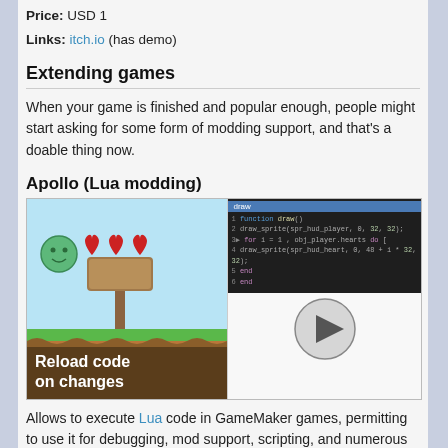Price: USD 1
Links: itch.io (has demo)
Extending games
When your game is finished and popular enough, people might start asking for some form of modding support, and that's a doable thing now.
Apollo (Lua modding)
[Figure (screenshot): Screenshot composite: left panel shows a game with hearts, smiley face, and 'Reload code on changes' label; right panel shows Lua code editor and a video play button.]
Allows to execute Lua code in GameMaker games, permitting to use it for debugging, mod support, scripting, and numerous other purposes.